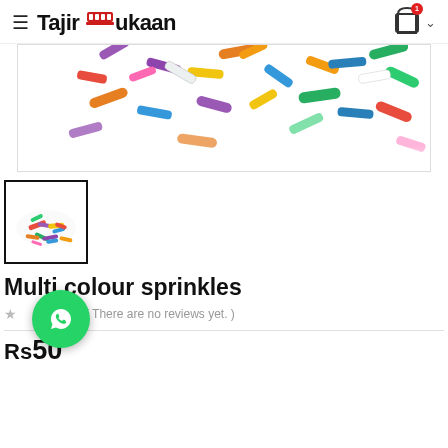TajirDukaan
[Figure (photo): Close-up photo of colorful multi-colour sprinkles (rainbow jimmies) scattered on white background]
[Figure (photo): Thumbnail image of a pile of multi-colour sprinkles on white background]
Multi colour sprinkles
( There are no reviews yet. )
Rs50